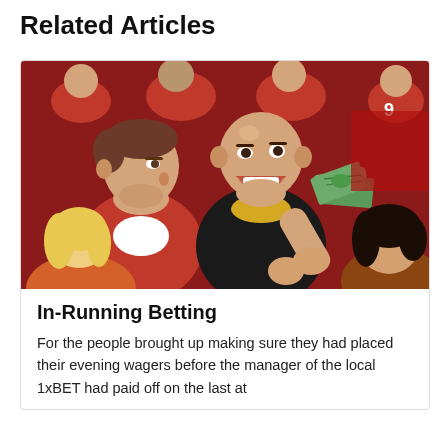Related Articles
[Figure (photo): Sports fans in stadium seating wearing red and black jerseys; a bald man in a black and yellow jersey holds cash and grins while surrounded by other fans]
In-Running Betting
For the people brought up making sure they had placed their evening wagers before the manager of the local 1xBET had paid off on the last at